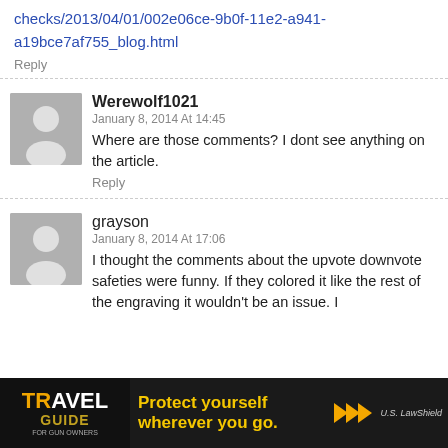checks/2013/04/01/002e06ce-9b0f-11e2-a941-a19bce7af755_blog.html
Reply
Werewolf1021
January 8, 2014 At 14:45
Where are those comments? I dont see anything on the article.
Reply
grayson
January 8, 2014 At 17:06
I thought the comments about the upvote downvote safeties were funny. If they colored it like the rest of the engraving it wouldn't be an issue. I
[Figure (screenshot): Travel Guide for Gun Owners advertisement banner — U.S. LawShield. Text: Protect yourself wherever you go.]